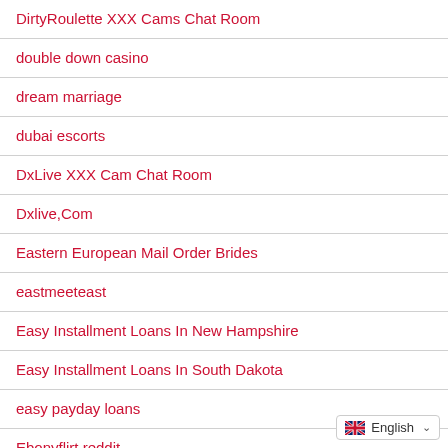DirtyRoulette XXX Cams Chat Room
double down casino
dream marriage
dubai escorts
DxLive XXX Cam Chat Room
Dxlive,Com
Eastern European Mail Order Brides
eastmeeteast
Easy Installment Loans In New Hampshire
Easy Installment Loans In South Dakota
easy payday loans
Ebonyflirt reddit